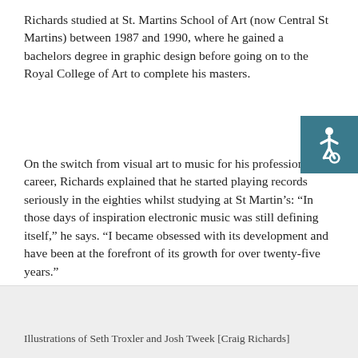Richards studied at St. Martins School of Art (now Central St Martins) between 1987 and 1990, where he gained a bachelors degree in graphic design before going on to the Royal College of Art to complete his masters.
[Figure (illustration): Accessibility icon: white wheelchair symbol on teal/dark cyan square background]
On the switch from visual art to music for his professional career, Richards explained that he started playing records seriously in the eighties whilst studying at St Martin’s: “In those days of inspiration electronic music was still defining itself,” he says. “I became obsessed with its development and have been at the forefront of its growth for over twenty-five years.”
Illustrations of Seth Troxler and Josh Tweek [Craig Richards]